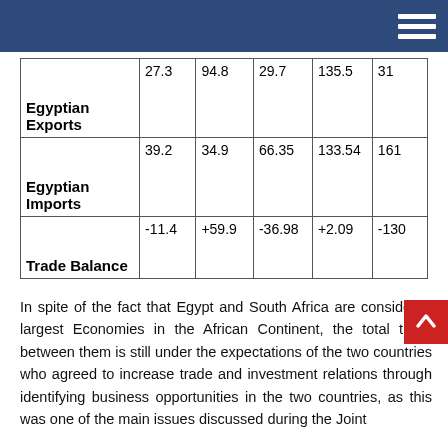|  | Col1 | Col2 | Col3 | Col4 | Col5 |
| --- | --- | --- | --- | --- | --- |
| Egyptian Exports | 27.3 | 94.8 | 29.7 | 135.5 | 31 |
| Egyptian Imports | 39.2 | 34.9 | 66.35 | 133.54 | 161 |
| Trade Balance | -11.4 | +59.9 | -36.98 | +2.09 | -130 |
In spite of the fact that Egypt and South Africa are considered largest Economies in the African Continent, the total trade between them is still under the expectations of the two countries who agreed to increase trade and investment relations through identifying business opportunities in the two countries, as this was one of the main issues discussed during the Joint
The Joint Commission meetings met in Pretoria in March 2010.